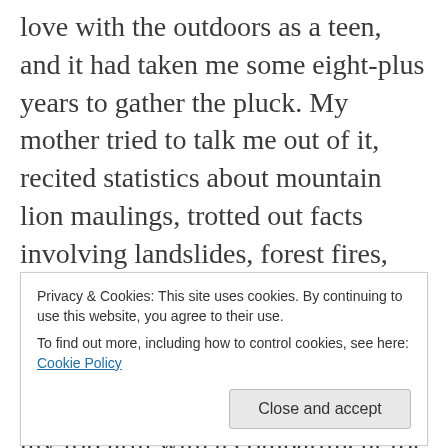love with the outdoors as a teen, and it had taken me some eight-plus years to gather the pluck. My mother tried to talk me out of it, recited statistics about mountain lion maulings, trotted out facts involving landslides, forest fires, snake bites, and hypothermia. Did you know that bears are drawn to menstruating women? she asked, then bought me a knife the size of my forearm with a compartment for waterproof matches, flint, and a space blanket. She sent emails
Privacy & Cookies: This site uses cookies. By continuing to use this website, you agree to their use.
To find out more, including how to control cookies, see here: Cookie Policy
rape whistle around my neck to scare the men